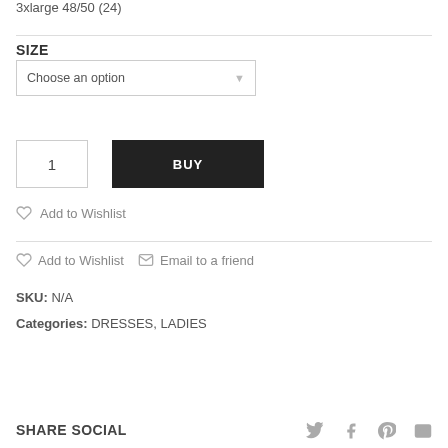3xlarge  48/50 (24)
SIZE
Choose an option
1
BUY
Add to Wishlist
Add to Wishlist   Email to a friend
SKU: N/A
Categories: DRESSES, LADIES
SHARE SOCIAL